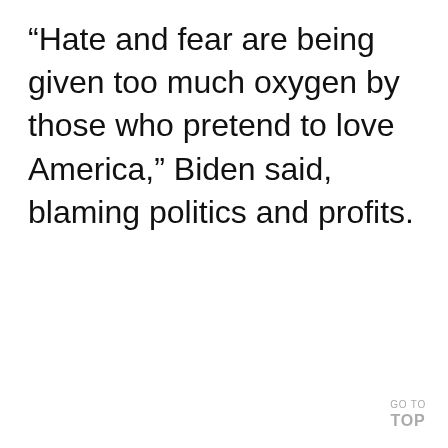“Hate and fear are being given too much oxygen by those who pretend to love America,” Biden said, blaming politics and profits.
GO TO TOP